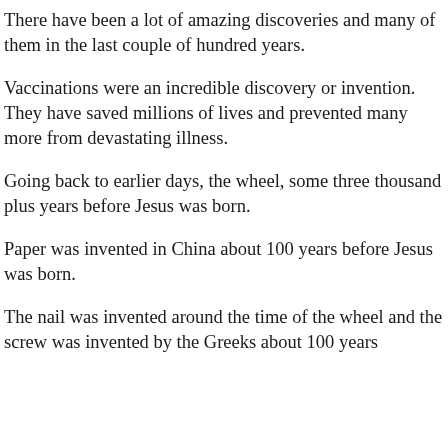There have been a lot of amazing discoveries and many of them in the last couple of hundred years.
Vaccinations were an incredible discovery or invention. They have saved millions of lives and prevented many more from devastating illness.
Going back to earlier days, the wheel, some three thousand plus years before Jesus was born.
Paper was invented in China about 100 years before Jesus was born.
The nail was invented around the time of the wheel and the screw was invented by the Greeks about 100 years